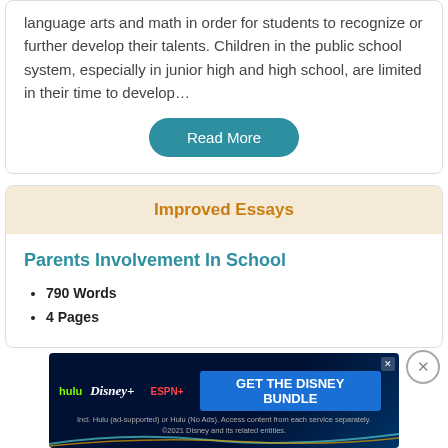language arts and math in order for students to recognize or further develop their talents. Children in the public school system, especially in junior high and high school, are limited in their time to develop…
Read More
Improved Essays
Parents Involvement In School
790 Words
4 Pages
[Figure (screenshot): Disney Bundle advertisement banner featuring Hulu, Disney+, ESPN+ logos with 'GET THE DISNEY BUNDLE' call to action button]